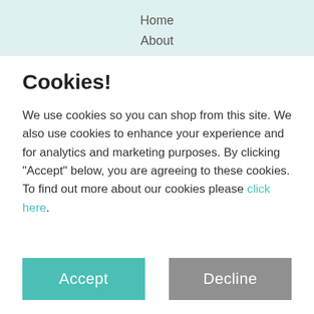Home
About
Cookies!
We use cookies so you can shop from this site. We also use cookies to enhance your experience and for analytics and marketing purposes. By clicking "Accept" below, you are agreeing to these cookies. To find out more about our cookies please click here.
Accept
Decline